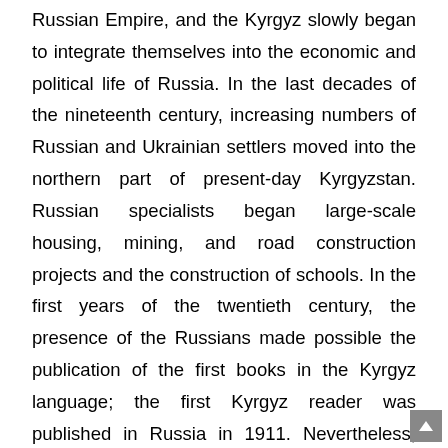Russian Empire, and the Kyrgyz slowly began to integrate themselves into the economic and political life of Russia. In the last decades of the nineteenth century, increasing numbers of Russian and Ukrainian settlers moved into the northern part of present-day Kyrgyzstan. Russian specialists began large-scale housing, mining, and road construction projects and the construction of schools. In the first years of the twentieth century, the presence of the Russians made possible the publication of the first books in the Kyrgyz language; the first Kyrgyz reader was published in Russia in 1911. Nevertheless, Russian policy did not aim at educating the population; most Kyrgyz remained illiterate, and in most regions traditional life continued largely as it had before 1870.
By 1915, however, even many Central Asians outside the